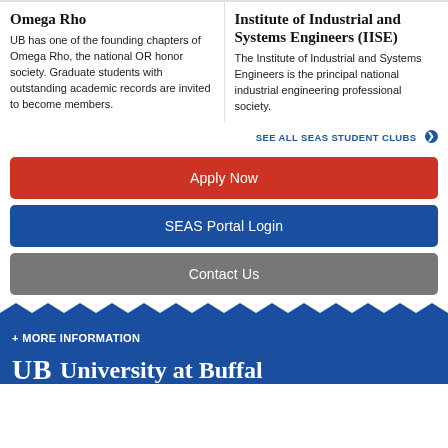Omega Rho
UB has one of the founding chapters of Omega Rho, the national OR honor society. Graduate students with outstanding academic records are invited to become members.
Institute of Industrial and Systems Engineers (IISE)
The Institute of Industrial and Systems Engineers is the principal national industrial engineering professional society.
SEE ALL SEAS STUDENT CLUBS
Apply Now
SEAS Portal Login
Contact Us
+ MORE INFORMATION
University at Buffalo